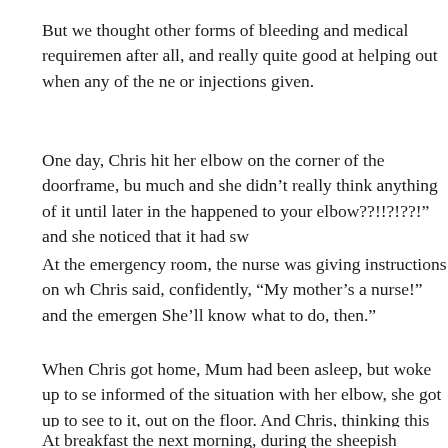But we thought other forms of bleeding and medical requirements after all, and really quite good at helping out when any of the ne or injections given.
One day, Chris hit her elbow on the corner of the doorframe, bu much and she didn't really think anything of it until later in the happened to your elbow??!!?!??!" and she noticed that it had sw
At the emergency room, the nurse was giving instructions on wh Chris said, confidently, "My mother's a nurse!" and the emergen She'll know what to do, then."
When Chris got home, Mum had been asleep, but woke up to se informed of the situation with her elbow, she got up to see to it, out on the floor. And Chris, thinking this meant it was far worse down.
At breakfast the next morning, during the sheepish retelling, we